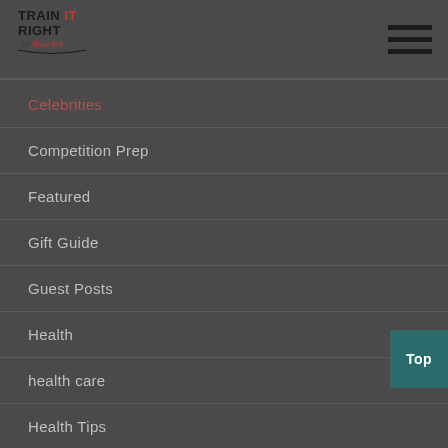Train It Right by Alicia Bell — navigation header with logo and hamburger menu
Celebrities
Competition Prep
Featured
Gift Guide
Guest Posts
Health
health care
Health Tips